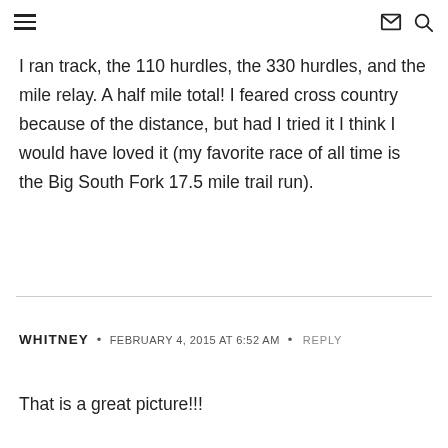☰  ✉ 🔍
I ran track, the 110 hurdles, the 330 hurdles, and the mile relay. A half mile total! I feared cross country because of the distance, but had I tried it I think I would have loved it (my favorite race of all time is the Big South Fork 17.5 mile trail run).
WHITNEY · FEBRUARY 4, 2015 AT 6:52 AM · REPLY
That is a great picture!!!